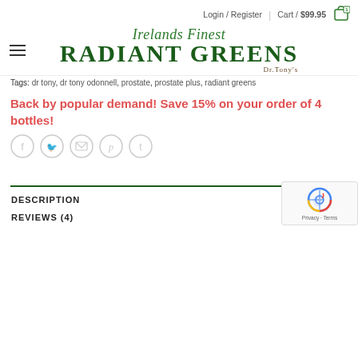Login / Register | Cart / $99.95 [1]
[Figure (logo): Irelands Finest Radiant Greens Dr. Tony's logo in green serif font]
Tags: dr tony, dr tony odonnell, prostate, prostate plus, radiant greens
Back by popular demand! Save 15% on your order of 4 bottles!
[Figure (other): Social share icons: Facebook, Twitter, Email, Pinterest, Tumblr]
DESCRIPTION
REVIEWS (4)
[Figure (other): reCAPTCHA badge with Privacy - Terms text]